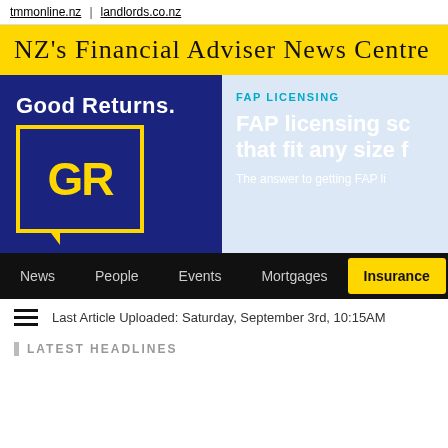tmmonline.nz | landlords.co.nz
NZ's Financial Adviser News Centre
[Figure (logo): Good Returns GR logo on dark blue background with yellow border box]
FAP LICENSING
FAP licensing sc... that fit any size f...
The answer to getting FAP li...
News   People   Events   Mortgages   Insurance   Inv...
Last Article Uploaded: Saturday, September 3rd, 10:15AM
LATEST HEADLINES